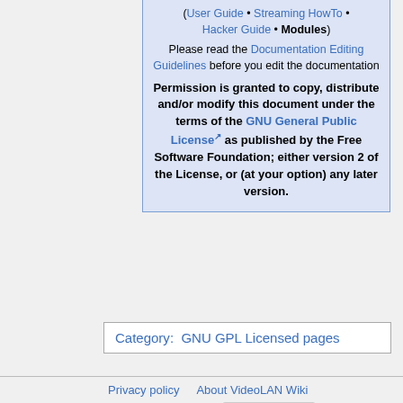(User Guide • Streaming HowTo • Hacker Guide • Modules)
Please read the Documentation Editing Guidelines before you edit the documentation
Permission is granted to copy, distribute and/or modify this document under the terms of the GNU General Public License as published by the Free Software Foundation; either version 2 of the License, or (at your option) any later version.
Category:  GNU GPL Licensed pages
Privacy policy   About VideoLAN Wiki   Disclaimers